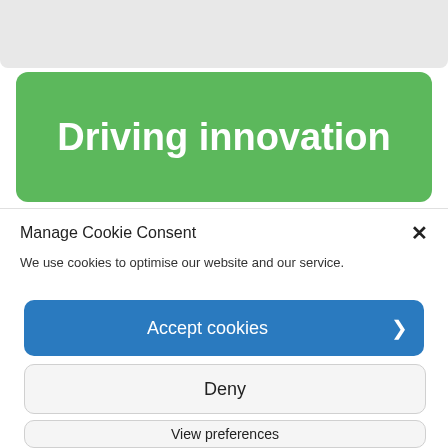[Figure (screenshot): Top gray bar area (partial website background)]
Driving innovation
This year we took the first steps towards
Manage Cookie Consent
We use cookies to optimise our website and our service.
Accept cookies
Deny
View preferences